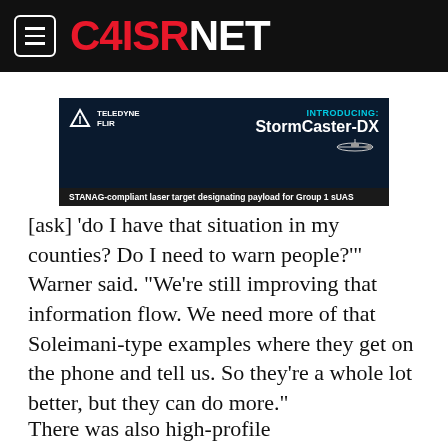C4ISRNET
[Figure (infographic): Teledyne FLIR advertisement banner for StormCaster-DX. Dark background with text: INTRODUCING: StormCaster-DX. STANAG-compliant laser target designating payload for Group 1 sUAS]
[ask] ‘do I have that situation in my counties? Do I need to warn people?’” Warner said. “We’re still improving that information flow. We need more of that Soleimani-type examples where they get on the phone and tell us. So they’re a whole lot better, but they can do more.”
There was also high-profile miscommunication this